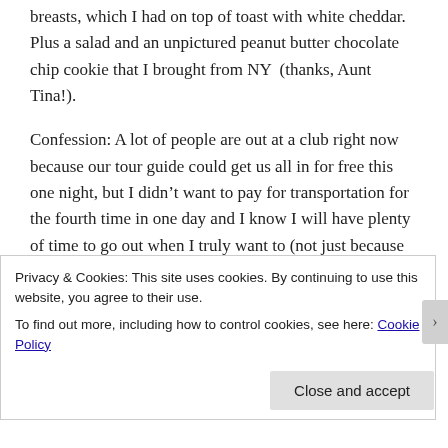breasts, which I had on top of toast with white cheddar. Plus a salad and an unpictured peanut butter chocolate chip cookie that I brought from NY (thanks, Aunt Tina!).
Confession: A lot of people are out at a club right now because our tour guide could get us all in for free this one night, but I didn't want to pay for transportation for the fourth time in one day and I know I will have plenty of time to go out when I truly want to (not just because it's free to get in. still need those dollas for booze ya know). PLUS, it was good to stay in with a couple of friends and
Privacy & Cookies: This site uses cookies. By continuing to use this website, you agree to their use.
To find out more, including how to control cookies, see here: Cookie Policy
Close and accept